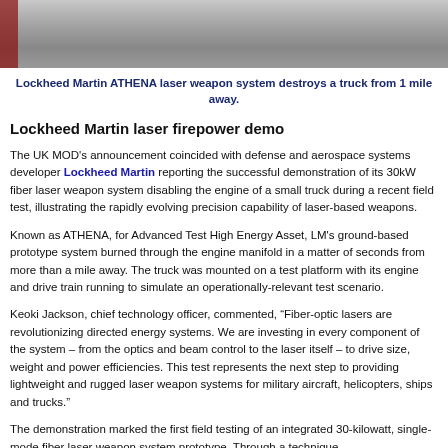[Figure (photo): Photograph of a white truck, close-up of the front/hood area, partially visible red object on the left, gravel ground visible. Top portion of a Lockheed Martin ATHENA laser weapon system test image.]
Lockheed Martin ATHENA laser weapon system destroys a truck from 1 mile away.
Lockheed Martin laser firepower demo
The UK MOD's announcement coincided with defense and aerospace systems developer Lockheed Martin reporting the successful demonstration of its 30kW fiber laser weapon system disabling the engine of a small truck during a recent field test, illustrating the rapidly evolving precision capability of laser-based weapons.
Known as ATHENA, for Advanced Test High Energy Asset, LM's ground-based prototype system burned through the engine manifold in a matter of seconds from more than a mile away. The truck was mounted on a test platform with its engine and drive train running to simulate an operationally-relevant test scenario.
Keoki Jackson, chief technology officer, commented, “Fiber-optic lasers are revolutionizing directed energy systems. We are investing in every component of the system – from the optics and beam control to the laser itself – to drive size, weight and power efficiencies. This test represents the next step to providing lightweight and rugged laser weapon systems for military aircraft, helicopters, ships and trucks.”
The demonstration marked the first field testing of an integrated 30-kilowatt, single-mode fiber laser weapon system prototype. Through a technique